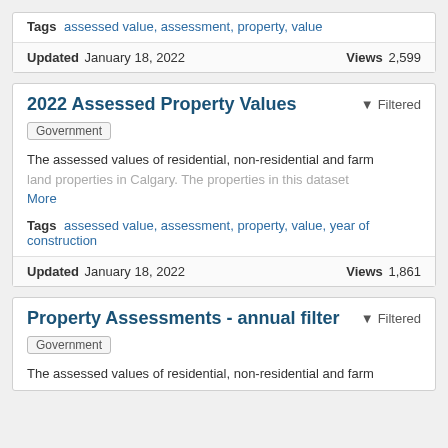Tags  assessed value, assessment, property, value
Updated January 18, 2022   Views 2,599
2022 Assessed Property Values
Filtered
Government
The assessed values of residential, non-residential and farm land properties in Calgary. The properties in this dataset More
Tags  assessed value, assessment, property, value, year of construction
Updated January 18, 2022   Views 1,861
Property Assessments - annual filter
Filtered
Government
The assessed values of residential, non-residential and farm